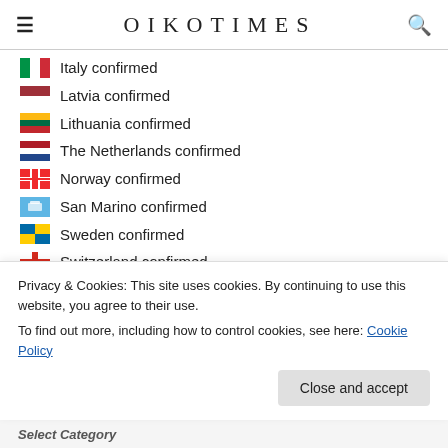OIKOTIMES
Italy confirmed
Latvia confirmed
Lithuania confirmed
The Netherlands confirmed
Norway confirmed
San Marino confirmed
Sweden confirmed
Switzerland confirmed
Spain confirmed
Ukraine confirmed
Privacy & Cookies: This site uses cookies. By continuing to use this website, you agree to their use.
To find out more, including how to control cookies, see here: Cookie Policy
Close and accept
Select Category